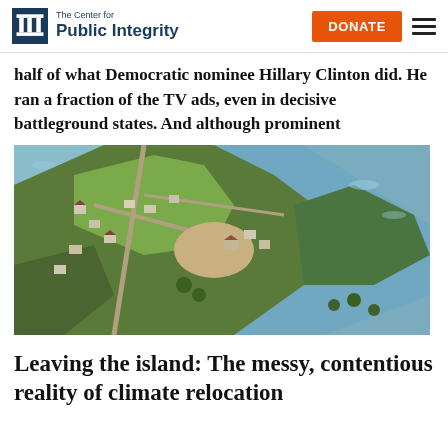The Center for Public Integrity
half of what Democratic nominee Hillary Clinton did. He ran a fraction of the TV ads, even in decisive battleground states. And although prominent
[Figure (photo): Aerial photograph of a small island community surrounded by water channels and marshland, showing scattered houses, roads, and a waterway running through the center.]
Leaving the island: The messy, contentious reality of climate relocation